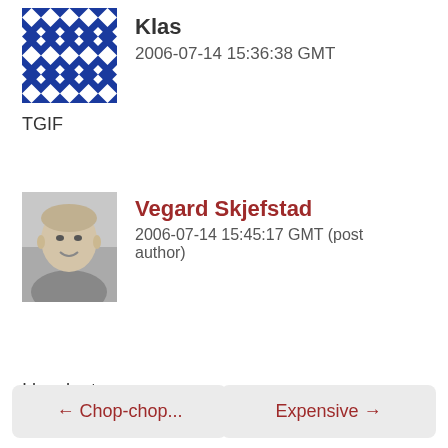[Figure (illustration): Blue and white geometric/mosaic avatar for user Klas]
Klas
2006-07-14 15:36:38 GMT
TGIF
[Figure (photo): Black and white photo of Vegard Skjefstad, a smiling man]
Vegard Skjefstad
2006-07-14 15:45:17 GMT (post author)
I laugh at youuuu...
← Chop-chop...
Expensive →